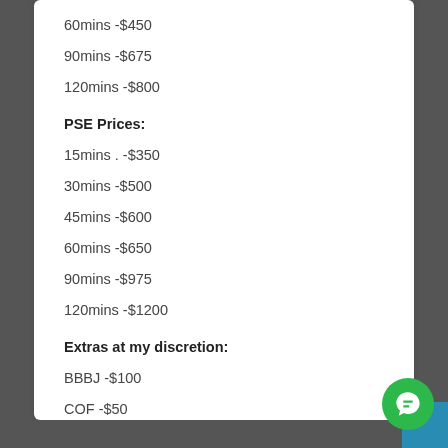60mins -$450
90mins -$675
120mins -$800
PSE Prices:
15mins . -$350
30mins -$500
45mins -$600
60mins -$650
90mins -$975
120mins -$1200
Extras at my discretion:
BBBJ -$100
COF -$50
CIM -$100
CIMWS -$150
FILMING -$300